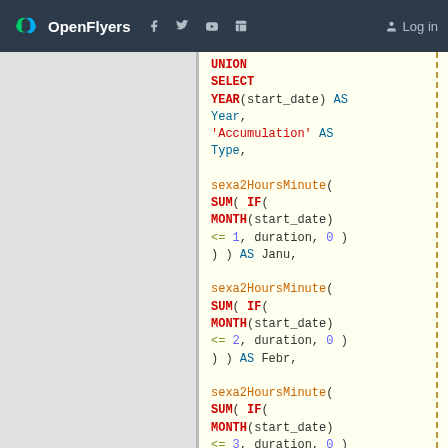OpenFlyers | Log in
SQL code block showing UNION SELECT with YEAR, Accumulation type, and sexa2HoursMinute SUM IF MONTH conditions for Janu, Febr, Marc months